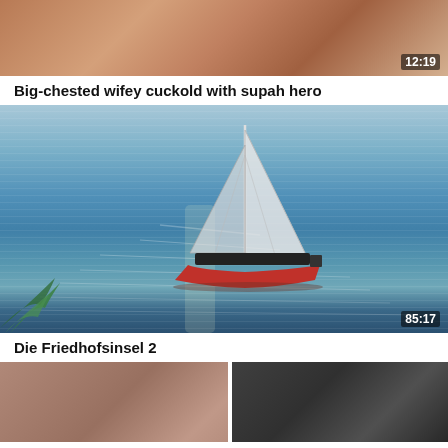[Figure (photo): Close-up video thumbnail showing skin tones, duration 12:19]
Big-chested wifey cuckold with supah hero
[Figure (photo): Video thumbnail of a red and white sailboat on blue water with palm frond visible at bottom left, duration 85:17]
Die Friedhofsinsel 2
[Figure (photo): Partially visible video thumbnail at bottom of page showing skin tones on left and dark background on right]